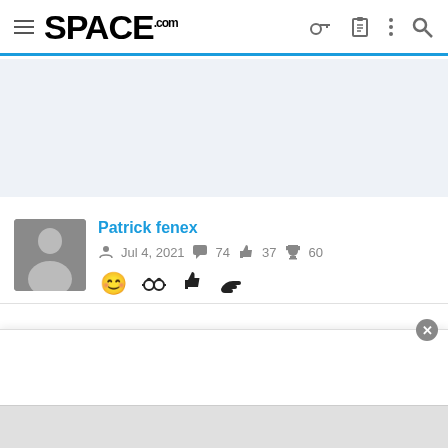SPACE.com
[Figure (other): Advertisement/placeholder banner area with light blue-gray background]
Patrick fenex
Jul 4, 2021   74   37   60
Aug 9, 2021   #43
Obviously, human being's cannot travel to the stars aboard a